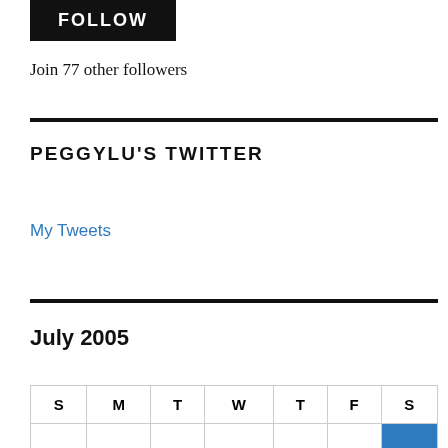[Figure (other): FOLLOW button, dark/black background with white bold uppercase text]
Join 77 other followers
PEGGYLU'S TWITTER
My Tweets
July 2005
| S | M | T | W | T | F | S |
| --- | --- | --- | --- | --- | --- | --- |
|  |  |  |  |  |  |  |